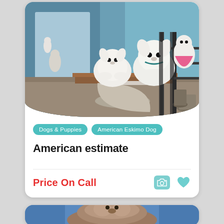[Figure (photo): Two white fluffy American Eskimo Dog puppies perched on a wooden ledge with a gray pot below, and another dog wearing a pink dress visible in the background on a patio]
Dogs & Puppies
American Eskimo Dog
American estimate
Price On Call
[Figure (photo): Partially visible photo of a brown/gray fluffy dog being held by a person in a blue shirt]